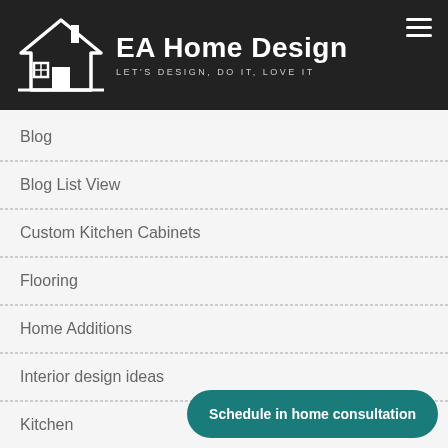EA Home Design — LET'S DESIGN, DO IT, LOVE IT
Blog
Blog List View
Custom Kitchen Cabinets
Flooring
Home Additions
Interior design ideas
Kitchen
Kitchen Design
Schedule in home consultation